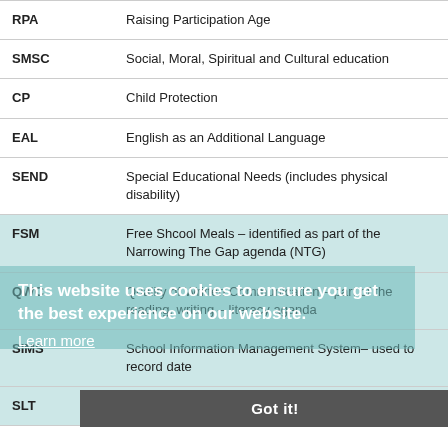| Abbreviation | Meaning |
| --- | --- |
| RPA | Raising Participation Age |
| SMSC | Social, Moral, Spiritual and Cultural education |
| CP | Child Protection |
| EAL | English as an Additional Language |
| SEND | Special Educational Needs (includes physical disability) |
| FSM | Free Shcool Meals – identified as part of the Narrowing The Gap agenda (NTG) |
| QWC | Quality of Written Communication – part of the reading, writing – literacy agenda |
| SIMS | School Information Management System– used to record date |
| SLT | Senior Leadership Team |
This website uses cookies to ensure you get the best experience on our website. Learn more
Got it!